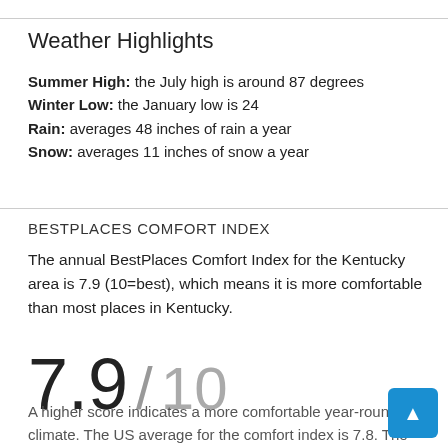Weather Highlights
Summer High: the July high is around 87 degrees
Winter Low: the January low is 24
Rain: averages 48 inches of rain a year
Snow: averages 11 inches of snow a year
BESTPLACES COMFORT INDEX
The annual BestPlaces Comfort Index for the Kentucky area is 7.9 (10=best), which means it is more comfortable than most places in Kentucky.
7.9 / 10
A higher score indicates a more comfortable year-round climate. The US average for the comfort index is 7.8. The index is based on the total number of days annually within